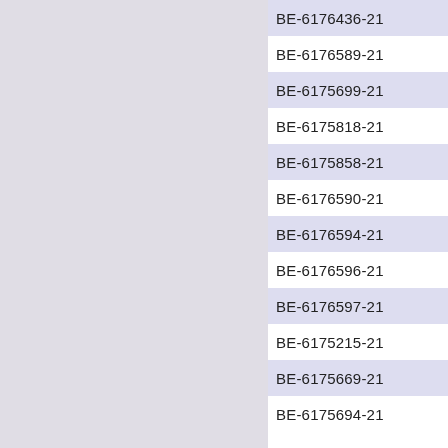BE-6176436-21
BE-6176589-21
BE-6175699-21
BE-6175818-21
BE-6175858-21
BE-6176590-21
BE-6176594-21
BE-6176596-21
BE-6176597-21
BE-6175215-21
BE-6175669-21
BE-6175694-21